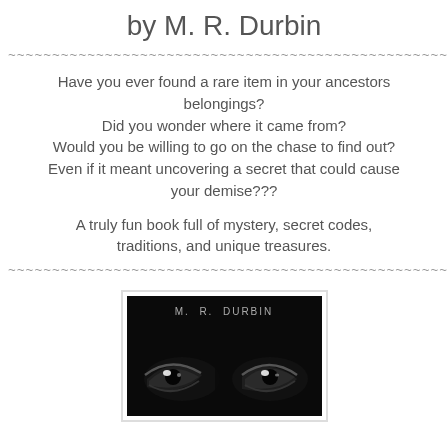by M. R. Durbin
Have you ever found a rare item in your ancestors belongings?
Did you wonder where it came from?
Would you be willing to go on the chase to find out?
Even if it meant uncovering a secret that could cause your demise???
A truly fun book full of mystery, secret codes, traditions, and unique treasures.
[Figure (photo): Black and white book cover showing close-up of eyes in darkness with author name M. R. DURBIN at top]